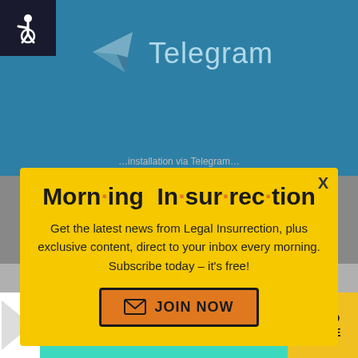[Figure (screenshot): Telegram app banner with logo and text on teal/blue background]
[Figure (screenshot): Morning Insurrection newsletter subscription popup modal with yellow background, large bold title, description text, and orange JOIN NOW button]
[Figure (screenshot): Bottom advertisement banner - The Perspective, SEE WHAT YOU'RE MISSING, READ MORE on teal and yellow background]